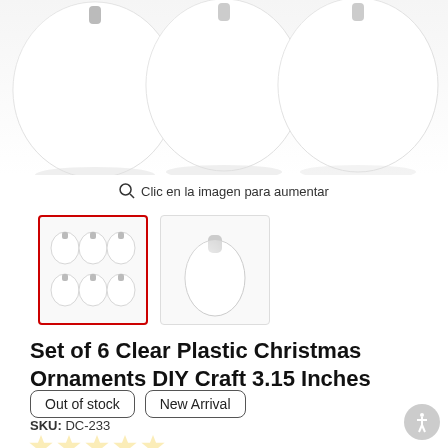[Figure (photo): Three clear plastic Christmas ornaments shown partially at top of page, white/light gray background]
Clic en la imagen para aumentar
[Figure (photo): Thumbnail image with red border showing 6 clear plastic ornaments arranged in 2 rows of 3]
[Figure (photo): Thumbnail image showing single clear plastic ornament]
Set of 6 Clear Plastic Christmas Ornaments DIY Craft 3.15 Inches
Out of stock   New Arrival
SKU: DC-233
[Figure (other): 5 empty star rating icons in yellow/gold outline]